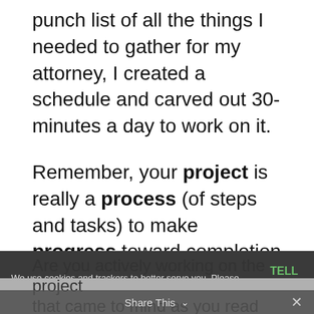punch list of all the things I needed to gather for my attorney, I created a schedule and carved out 30-minutes a day to work on it.
Remember, your project is really a process (of steps and tasks) to make progress toward completion (the end-goal or result). (Don't you just love alliteration!)
We use cookies and trackers to better serve you. Please click to find out more without leaving the page. | TELL ME MORE!
Are you actively working on the project that came to mind as you read today's